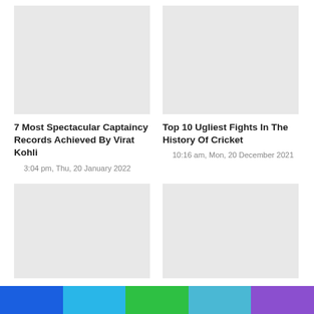7 Most Spectacular Captaincy Records Achieved By Virat Kohli
3:04 pm, Thu, 20 January 2022
Top 10 Ugliest Fights In The History Of Cricket
10:16 am, Mon, 20 December 2021
An Open Letter To Rahul Dravid
Here's Why Ajaz Patel Wasn't Given Man Of The Match Award